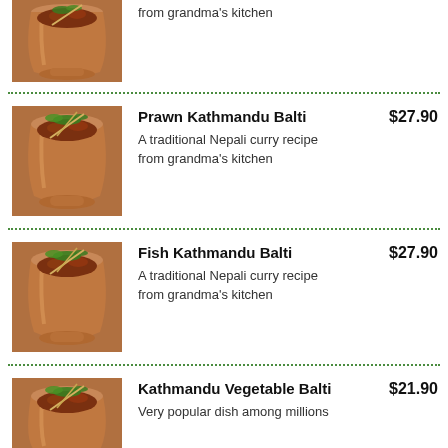[Figure (photo): Nepali curry dish served in a copper balti pot, partially visible at top of page]
from grandma’s kitchen
[Figure (photo): Nepali curry dish served in a copper balti pot with green herb garnish]
Prawn Kathmandu Balti  $27.90
A traditional Nepali curry recipe from grandma’s kitchen
[Figure (photo): Nepali curry dish served in a copper balti pot with green herb garnish]
Fish Kathmandu Balti  $27.90
A traditional Nepali curry recipe from grandma’s kitchen
[Figure (photo): Nepali vegetable curry dish served in a copper balti pot with green herb garnish]
Kathmandu Vegetable Balti  $21.90
Very popular dish among millions